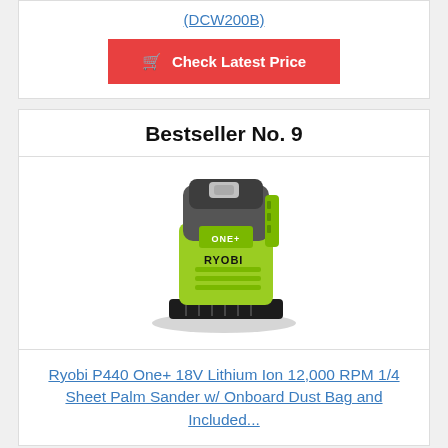(DCW200B)
Check Latest Price
Bestseller No. 9
[Figure (photo): Ryobi P440 One+ 18V palm sander, yellow and grey, with RYOBI branding on front, shown on a dark sanding pad base]
Ryobi P440 One+ 18V Lithium Ion 12,000 RPM 1/4 Sheet Palm Sander w/ Onboard Dust Bag and Included...